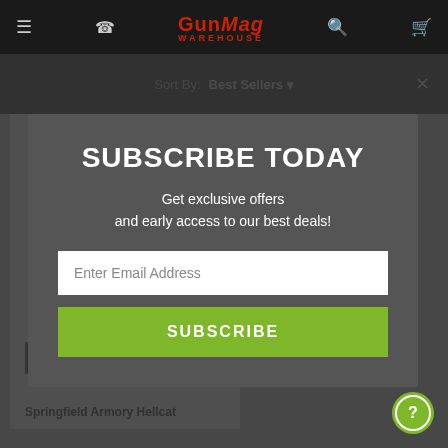GunMag Warehouse
Sort By:  Best Sellers
SUBSCRIBE TODAY
Get exclusive offers and early access to our best deals!
Enter Email Address
SUBSCRIBE
Springfield Armory Hellcat